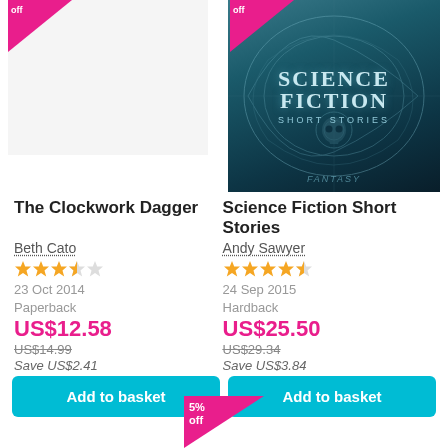[Figure (illustration): Sale badge (pink triangle) top-left corner over first book]
[Figure (photo): Science Fiction Short Stories book cover with ornate blue/teal decorative design]
[Figure (illustration): Sale badge (pink triangle) top-right corner over second book]
The Clockwork Dagger
Science Fiction Short Stories
Beth Cato
Andy Sawyer
★★★½ (3.5 stars)
★★★★ (4 stars)
23 Oct 2014
24 Sep 2015
Paperback
Hardback
US$12.58
US$25.50
US$14.99
US$29.34
Save US$2.41
Save US$3.84
Add to basket
Add to basket
[Figure (illustration): 5% off sale badge (pink triangle) at bottom center]